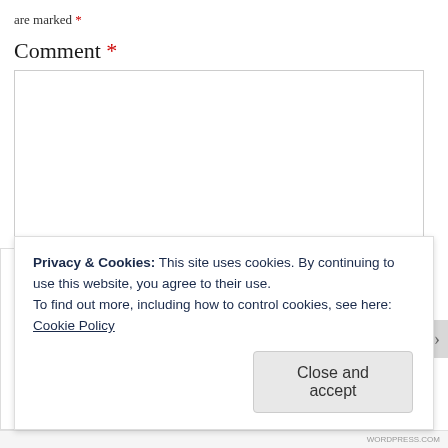are marked *
Comment *
[Figure (other): Empty comment text area input box with resize handle at bottom right]
Privacy & Cookies: This site uses cookies. By continuing to use this website, you agree to their use.
To find out more, including how to control cookies, see here: Cookie Policy
Close and accept